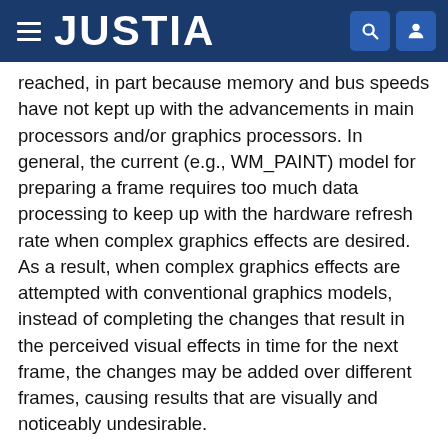JUSTIA
reached, in part because memory and bus speeds have not kept up with the advancements in main processors and/or graphics processors. In general, the current (e.g., WM_PAINT) model for preparing a frame requires too much data processing to keep up with the hardware refresh rate when complex graphics effects are desired. As a result, when complex graphics effects are attempted with conventional graphics models, instead of completing the changes that result in the perceived visual effects in time for the next frame, the changes may be added over different frames, causing results that are visually and noticeably undesirable.
A new model for controlling graphics output is described in U.S. patent application Ser. Nos. 10/184,795, 10/184,796, 10/185,775, 10/401,717, 10/402,322 and 10/402,268, assigned to the assignee of the present invention and hereby incorporated by